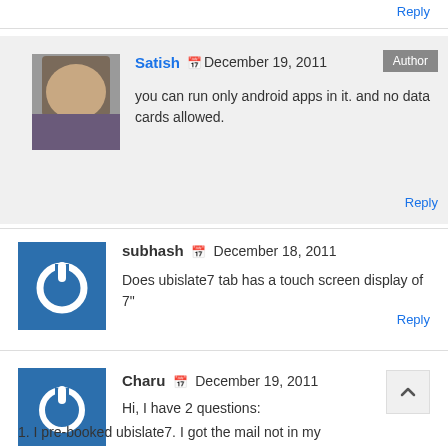Reply
Satish 📅 December 19, 2011
you can run only android apps in it. and no data cards allowed.
Author
Reply
subhash 📅 December 18, 2011
Does ubislate7 tab has a touch screen display of 7"
Reply
Charu 📅 December 19, 2011
Hi, I have 2 questions:
1. I pre-booked ubislate7. I got the mail not in my